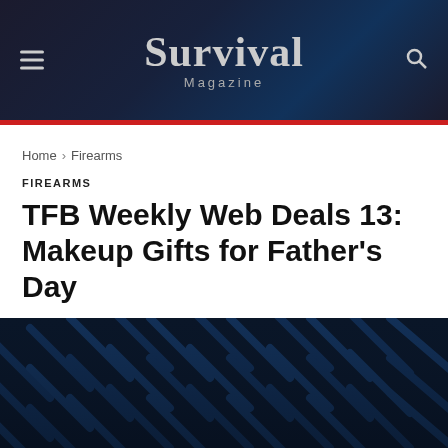Survival Magazine
Home › Firearms
FIREARMS
TFB Weekly Web Deals 13: Makeup Gifts for Father's Day
By Survival   June 21, 2022
[Figure (photo): Dark blue patterned background image at bottom of page]